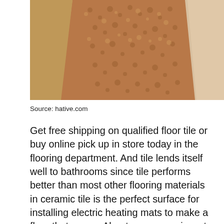[Figure (photo): Photo of a pebble or granular stone floor/surface viewed from above at an angle, with beige/tan walls or boards on the left and right sides framing the view.]
Source: hative.com
Get free shipping on qualified floor tile or buy online pick up in store today in the flooring department. And tile lends itself well to bathrooms since tile performs better than most other flooring materials in ceramic tile is the perfect surface for installing electric heating mats to make a floor that oozes. About a year ago i went in and had the issue and hadn't thought much of it again until down here today. If anyone wants to do any kind of tile work please let me know, to a